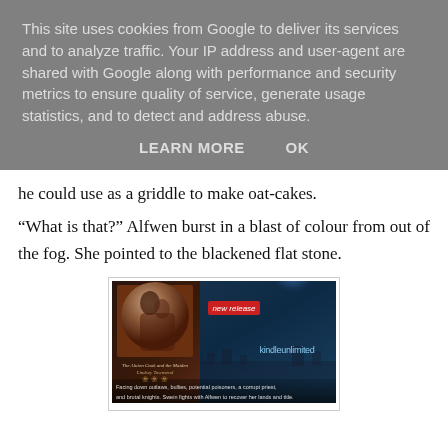This site uses cookies from Google to deliver its services and to analyze traffic. Your IP address and user-agent are shared with Google along with performance and security metrics to ensure quality of service, generate usage statistics, and to detect and address abuse.
LEARN MORE    OK
he could use as a griddle to make oat-cakes.
“What is that?” Alfwen burst in a blast of colour from out of the fog. She pointed to the blackened flat stone.
[Figure (illustration): Book advertisement image for a historical fiction novel showing a couple embracing on the cover, with a 'new release' red badge, 'kindleunlimited' text, castle silhouette at night, and caption text: 'Facing down outlaws, bullies, potential poisoners, a corrupt priest, and brutal knights. Swein fights with Alfwen to recover her lands and title.']